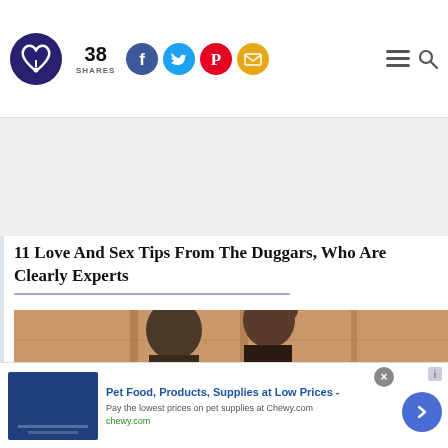38 SHARES — social sharing bar with Facebook, Twitter, Pinterest, Email icons; logo and navigation icons
[Figure (other): Gray advertisement placeholder area]
11 Love And Sex Tips From The Duggars, Who Are Clearly Experts
[Figure (photo): Partial photo of a couple (man and woman) from the shoulders/head up, in front of a wooden background]
[Figure (other): Advertisement banner: Pet Food, Products, Supplies at Low Prices - chewy.com. Pay the lowest prices on pet supplies at Chewy.com]